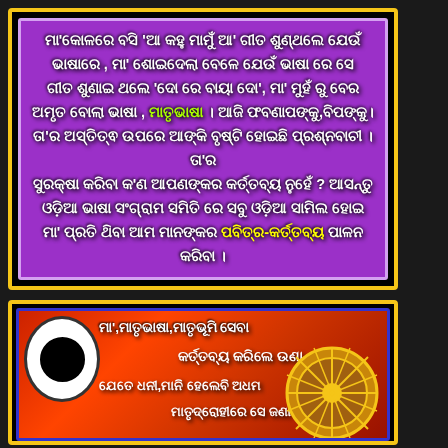[Figure (illustration): Purple background text panel with yellow border containing Odia script text about mother tongue (Matribhasha). Text in white with green and yellow highlights.]
[Figure (illustration): Red/orange background panel with blue border showing Lord Jagannath face on left, a golden chariot wheel at bottom right, and Odia script text about serving mother, mother tongue, and motherland.]